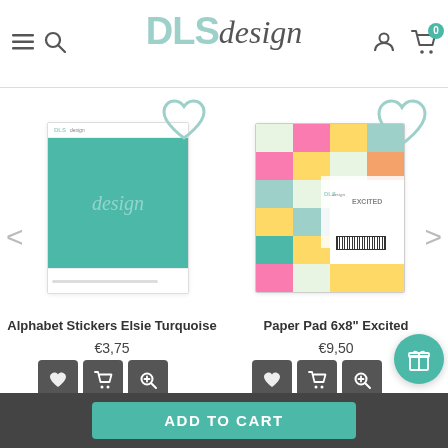DLSdesign
[Figure (illustration): Alphabet Stickers Elsie Turquoise product image - teal/turquoise card with DLS design logo]
Alphabet Stickers Elsie Turquoise
€3,75
[Figure (illustration): Paper Pad 6x8 Excited product image - colorful grid of patterned papers]
Paper Pad 6x8" Excited
€9,50
ADD TO CART